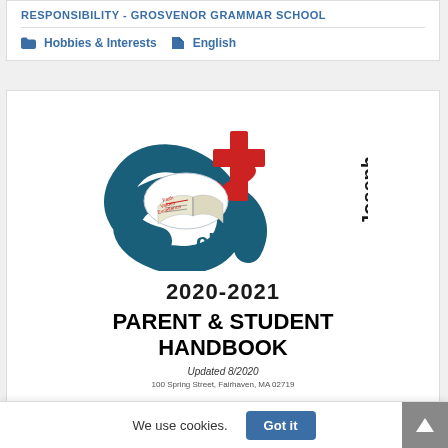RESPONSIBILITY - GROSVENOR GRAMMAR SCHOOL
Hobbies & Interests   English
[Figure (logo): St. Joseph School logo with stylized S and cross, 2020-2021 Parent & Student Handbook cover, Updated 8/2020, 100 Spring Street, Fairhaven, MA 02719]
We use cookies.
Got it